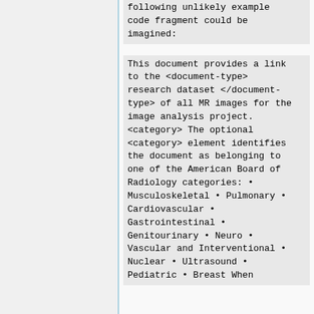following unlikely example code fragment could be imagined:
This document provides a link to the <document-type> research dataset </document-type> of all MR images for the image analysis project. <category> The optional <category> element identifies the document as belonging to one of the American Board of Radiology categories: • Musculoskeletal • Pulmonary • Cardiovascular • Gastrointestinal • Genitourinary • Neuro • Vascular and Interventional • Nuclear • Ultrasound • Pediatric • Breast When